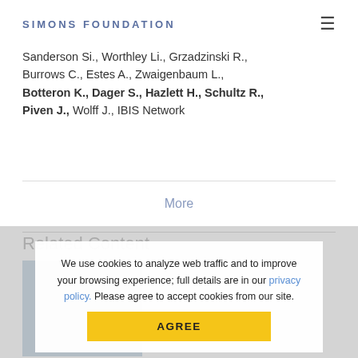SIMONS FOUNDATION
Sanderson Si., Worthley Li., Grzadzinski R., Burrows C., Estes A., Zwaigenbaum L., Botteron K., Dager S., Hazlett H., Schultz R., Piven J., Wolff J., IBIS Network
More
Related Content
We use cookies to analyze web traffic and to improve your browsing experience; full details are in our privacy policy. Please agree to accept cookies from our site.
AGREE